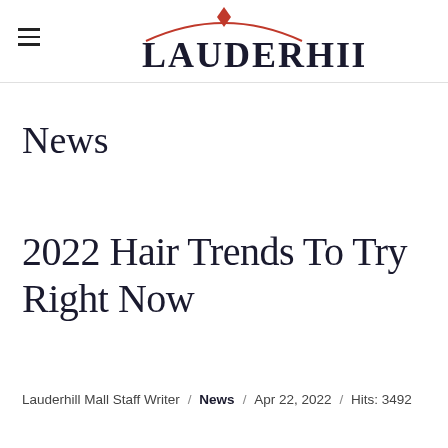Lauderhill Mall
News
2022 Hair Trends To Try Right Now
Lauderhill Mall Staff Writer / News / Apr 22, 2022 / Hits: 3492